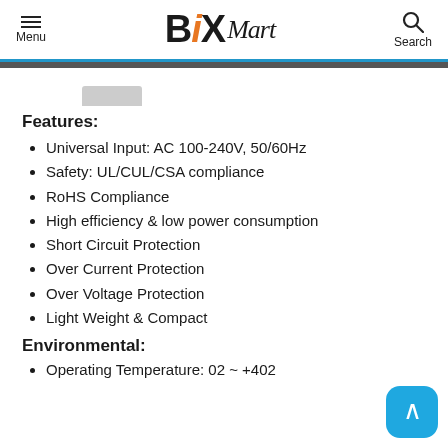Menu | Bi Mart | Search
Features:
Universal Input: AC 100-240V, 50/60Hz
Safety: UL/CUL/CSA compliance
RoHS Compliance
High efficiency & low power consumption
Short Circuit Protection
Over Current Protection
Over Voltage Protection
Light Weight & Compact
Environmental:
Operating Temperature: 02 ~ +402